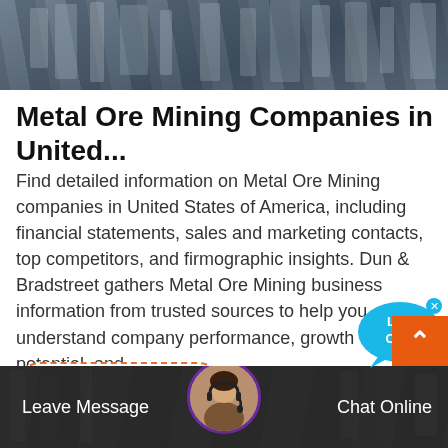[Figure (photo): Industrial or mining facility image at the top of the page, showing machinery or equipment in dark tones]
Metal Ore Mining Companies in United...
Find detailed information on Metal Ore Mining companies in United States of America, including financial statements, sales and marketing contacts, top competitors, and firmographic insights. Dun & Bradstreet gathers Metal Ore Mining business information from trusted sources to help you understand company performance, growth potential, and ...
Read More
Leave Message
Chat Online